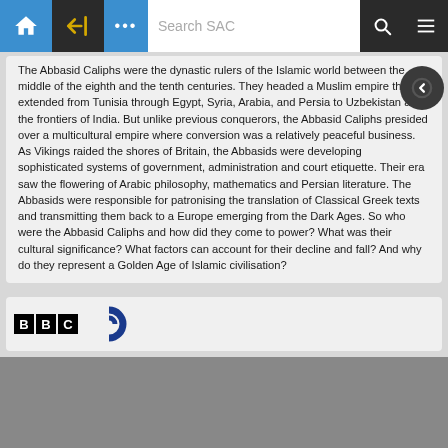Search SAC — navigation bar
The Abbasid Caliphs were the dynastic rulers of the Islamic world between the middle of the eighth and the tenth centuries. They headed a Muslim empire that extended from Tunisia through Egypt, Syria, Arabia, and Persia to Uzbekistan and the frontiers of India. But unlike previous conquerors, the Abbasid Caliphs presided over a multicultural empire where conversion was a relatively peaceful business. As Vikings raided the shores of Britain, the Abbasids were developing sophisticated systems of government, administration and court etiquette. Their era saw the flowering of Arabic philosophy, mathematics and Persian literature. The Abbasids were responsible for patronising the translation of Classical Greek texts and transmitting them back to a Europe emerging from the Dark Ages. So who were the Abbasid Caliphs and how did they come to power? What was their cultural significance? What factors can account for their decline and fall? And why do they represent a Golden Age of Islamic civilisation?
[Figure (logo): BBC logo with three white letter boxes on black background, and a partial BBC Radio icon]